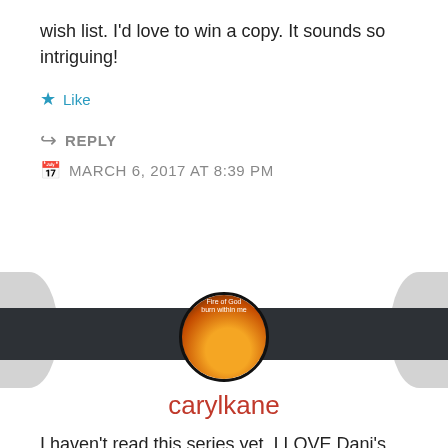wish list. I'd love to win a copy. It sounds so intriguing!
★ Like
↪ REPLY
📅 MARCH 6, 2017 AT 8:39 PM
[Figure (photo): Circular avatar image with a dark background showing a book cover with fire/flame imagery and text 'Fire of God' and 'burn within me']
carylkane
I haven't read this series yet. I LOVE Dani's books! Thank you for the chance.
★ Like